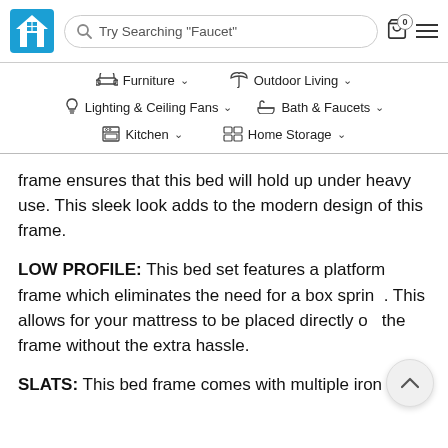Home improvement e-commerce website header with logo, search bar (Try Searching "Faucet"), cart icon, and menu icon
Navigation menu: Furniture, Outdoor Living, Lighting & Ceiling Fans, Bath & Faucets, Kitchen, Home Storage
frame ensures that this bed will hold up under heavy use. This sleek look adds to the modern design of this frame.
LOW PROFILE: This bed set features a platform frame which eliminates the need for a box spring. This allows for your mattress to be placed directly on the frame without the extra hassle.
SLATS: This bed frame comes with multiple iron